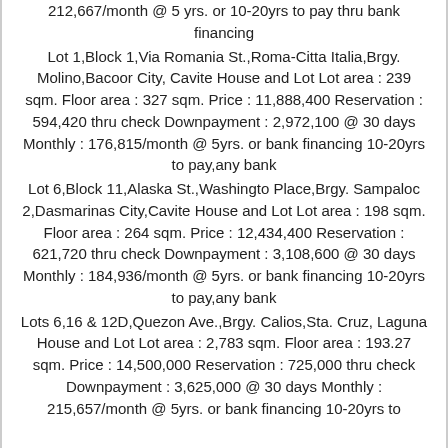212,667/month @ 5 yrs. or 10-20yrs to pay thru bank financing
Lot 1,Block 1,Via Romania St.,Roma-Citta Italia,Brgy. Molino,Bacoor City, Cavite House and Lot Lot area : 239 sqm. Floor area : 327 sqm. Price : 11,888,400 Reservation : 594,420 thru check Downpayment : 2,972,100 @ 30 days Monthly : 176,815/month @ 5yrs. or bank financing 10-20yrs to pay,any bank
Lot 6,Block 11,Alaska St.,Washingto Place,Brgy. Sampaloc 2,Dasmarinas City,Cavite House and Lot Lot area : 198 sqm. Floor area : 264 sqm. Price : 12,434,400 Reservation : 621,720 thru check Downpayment : 3,108,600 @ 30 days Monthly : 184,936/month @ 5yrs. or bank financing 10-20yrs to pay,any bank
Lots 6,16 & 12D,Quezon Ave.,Brgy. Calios,Sta. Cruz, Laguna House and Lot Lot area : 2,783 sqm. Floor area : 193.27 sqm. Price : 14,500,000 Reservation : 725,000 thru check Downpayment : 3,625,000 @ 30 days Monthly : 215,657/month @ 5yrs. or bank financing 10-20yrs to